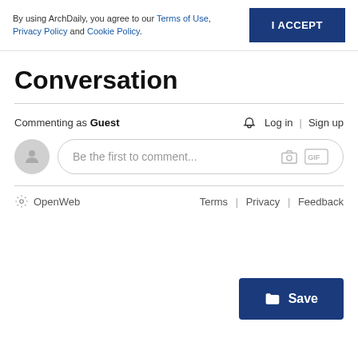By using ArchDaily, you agree to our Terms of Use, Privacy Policy and Cookie Policy.
I ACCEPT
Conversation
Commenting as Guest
Log in | Sign up
Be the first to comment...
OpenWeb   Terms | Privacy | Feedback
Save